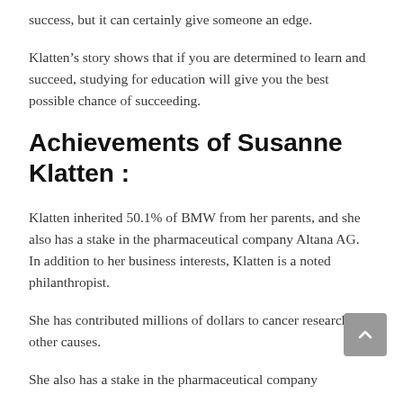success, but it can certainly give someone an edge.
Klatten’s story shows that if you are determined to learn and succeed, studying for education will give you the best possible chance of succeeding.
Achievements of Susanne Klatten :
Klatten inherited 50.1% of BMW from her parents, and she also has a stake in the pharmaceutical company Altana AG. In addition to her business interests, Klatten is a noted philanthropist.
She has contributed millions of dollars to cancer research and other causes.
She also has a stake in the pharmaceutical company